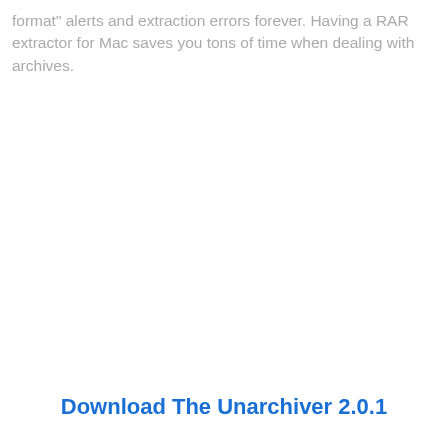format" alerts and extraction errors forever. Having a RAR extractor for Mac saves you tons of time when dealing with archives.
Download The Unarchiver 2.0.1